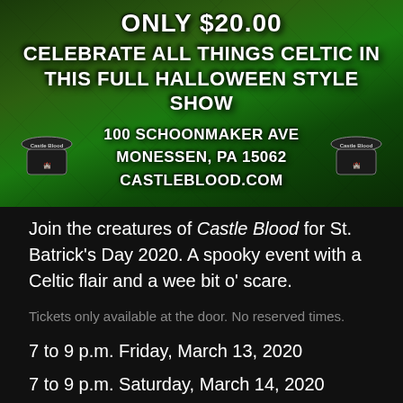[Figure (infographic): Green and black Halloween-style Celtic event poster with cracked texture background. Shows price 'ONLY $20.00', main title 'CELEBRATE ALL THINGS CELTIC IN THIS FULL HALLOWEEN STYLE SHOW', address '100 SCHOONMAKER AVE, MONESSEN, PA 15062', website 'CASTLEBLOOD.COM', and two Castle Blood logos on either side.]
Join the creatures of Castle Blood for St. Batrick's Day 2020. A spooky event with a Celtic flair and a wee bit o' scare.
Tickets only available at the door. No reserved times.
7 to 9 p.m. Friday, March 13, 2020
7 to 9 p.m. Saturday, March 14, 2020